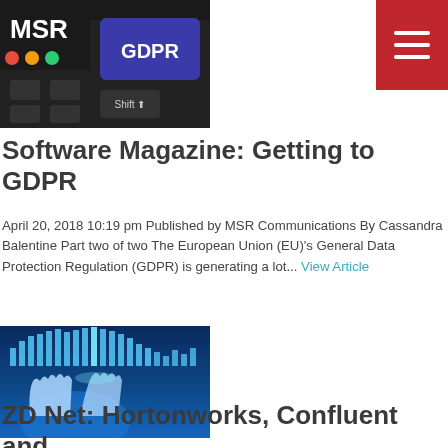[Figure (photo): Keyboard with a purple GDPR key, MSR logo in top-left corner with colorful dots]
[Figure (other): Red hamburger menu button with three white lines]
Software Magazine: Getting to GDPR
April 20, 2018 10:19 pm Published by MSR Communications By Cassandra Balentine Part two of two The European Union (EU)'s General Data Protection Regulation (GDPR) is generating a lot... View Article
[Figure (photo): Blue glowing hands holding data bars chart visualization]
ZD Net: Hortonworks, Confluent and